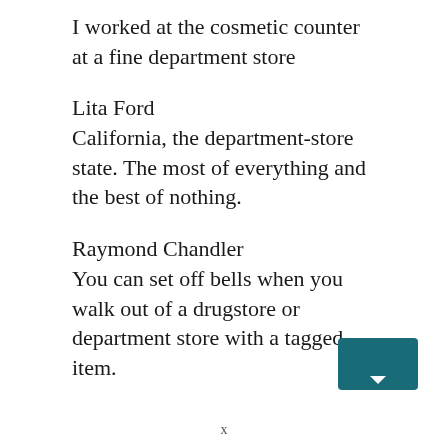I worked at the cosmetic counter at a fine department store
Lita Ford
California, the department-store state. The most of everything and the best of nothing.
Raymond Chandler
You can set off bells when you walk out of a drugstore or department store with a tagged item.
x